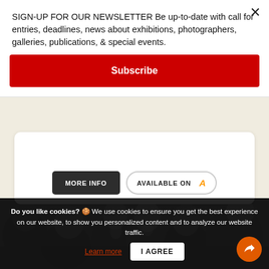SIGN-UP FOR OUR NEWSLETTER Be up-to-date with call for entries, deadlines, news about exhibitions, photographers, galleries, publications, & special events.
Subscribe
[Figure (screenshot): MORE INFO button (dark rounded rectangle) and AVAILABLE ON Amazon button (outlined rounded rectangle with Amazon logo)]
[Figure (photo): Black and white photo of a crowd of people, heads visible from behind and sides]
Do you like cookies? 🍪 We use cookies to ensure you get the best experience on our website, to show you personalized content and to analyze our website traffic.
Learn more
I AGREE